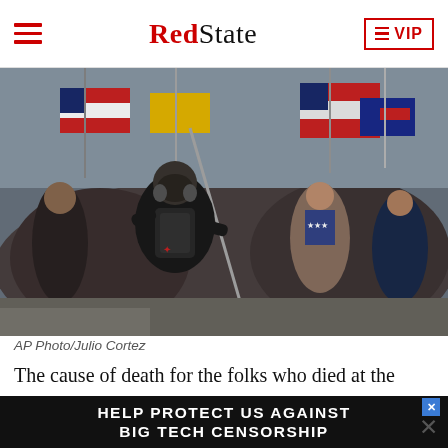RedState | VIP
[Figure (photo): A crowd of protesters at the US Capitol on January 6, carrying American flags and other flags; one person in foreground wears a gas mask and black jacket]
AP Photo/Julio Cortez
The cause of death for the folks who died at the Capitol Riot on Jan. 6 seems to have become a continuing
[Figure (infographic): Advertisement banner: HELP PROTECT US AGAINST BIG TECH CENSORSHIP]
But now, the medical examiner's determination has